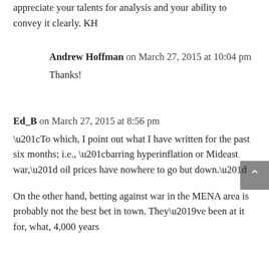appreciate your talents for analysis and your ability to convey it clearly. KH
Andrew Hoffman on March 27, 2015 at 10:04 pm
Thanks!
Ed_B on March 27, 2015 at 8:56 pm
“To which, I point out what I have written for the past six months; i.e., “barring hyperinflation or Mideast war,” oil prices have nowhere to go but down.”
On the other hand, betting against war in the MENA area is probably not the best bet in town. They’ve been at it for, what, 4,000 years